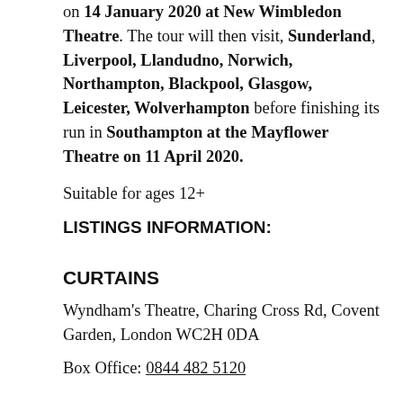on 14 January 2020 at New Wimbledon Theatre. The tour will then visit, Sunderland, Liverpool, Llandudno, Norwich, Northampton, Blackpool, Glasgow, Leicester, Wolverhampton before finishing its run in Southampton at the Mayflower Theatre on 11 April 2020.
Suitable for ages 12+
LISTINGS INFORMATION:
CURTAINS
Wyndham's Theatre, Charing Cross Rd, Covent Garden, London WC2H 0DA
Box Office: 0844 482 5120